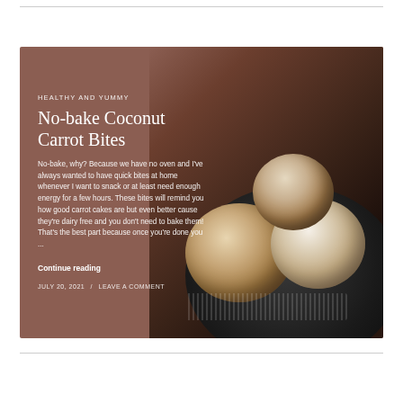[Figure (photo): Blog post card with brownish-tan background showing coconut-dusted energy balls on a dark plate. Overlay text includes category label, title, excerpt, and metadata.]
HEALTHY AND YUMMY
No-bake Coconut Carrot Bites
No-bake, why? Because we have no oven and I've always wanted to have quick bites at home whenever I want to snack or at least need enough energy for a few hours. These bites will remind you how good carrot cakes are but even better cause they're dairy free and you don't need to bake them! That's the best part because once you're done you ...
Continue reading
JULY 20, 2021  /  LEAVE A COMMENT